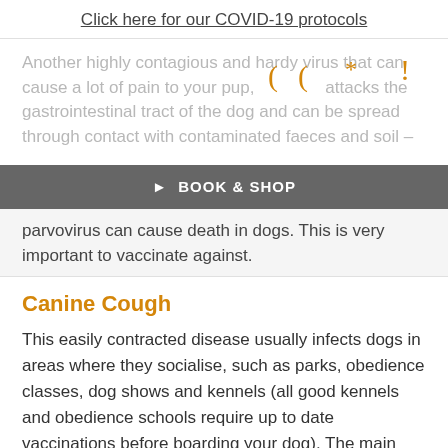Click here for our COVID-19 protocols
Another highly contagious and hardy virus that can cause a lot of pain to your pup, this attacks the gastrointestinal tract of the dog and can be spread through contact with contaminated faeces and soil –
▶ BOOK & SHOP
parvovirus can cause death in dogs. This is very important to vaccinate against.
Canine Cough
This easily contracted disease usually infects dogs in areas where they socialise, such as parks, obedience classes, dog shows and kennels (all good kennels and obedience schools require up to date vaccinations before boarding your dog). The main symptom of this cough is a harsh cough that often finishes with